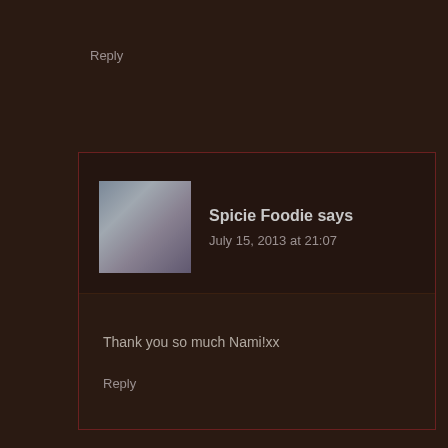Reply
Spicie Foodie says
July 15, 2013 at 21:07
Thank you so much Nami!xx
Reply